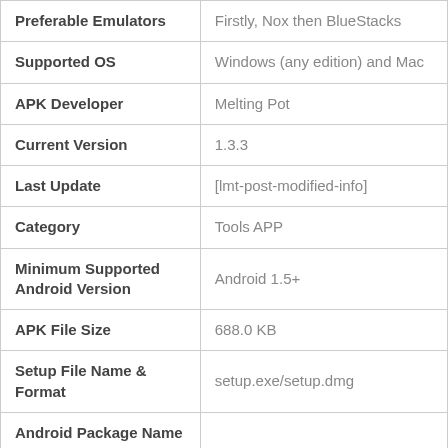| Property | Value |
| --- | --- |
| Preferable Emulators | Firstly, Nox then BlueStacks |
| Supported OS | Windows (any edition) and Mac |
| APK Developer | Melting Pot |
| Current Version | 1.3.3 |
| Last Update | [lmt-post-modified-info] |
| Category | Tools APP |
| Minimum Supported Android Version | Android 1.5+ |
| APK File Size | 688.0 KB |
| Setup File Name & Format | setup.exe/setup.dmg |
| Android Package Name |  |